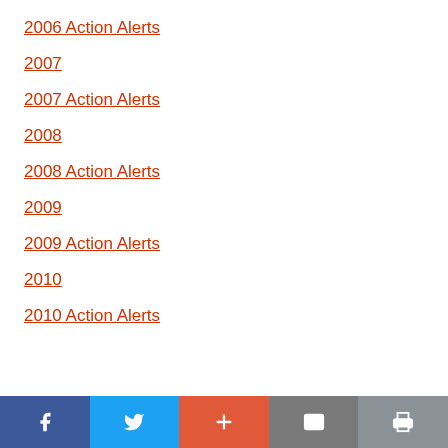2006 Action Alerts
2007
2007 Action Alerts
2008
2008 Action Alerts
2009
2009 Action Alerts
2010
2010 Action Alerts
Social share bar: Facebook, Twitter, Add, Email, Print